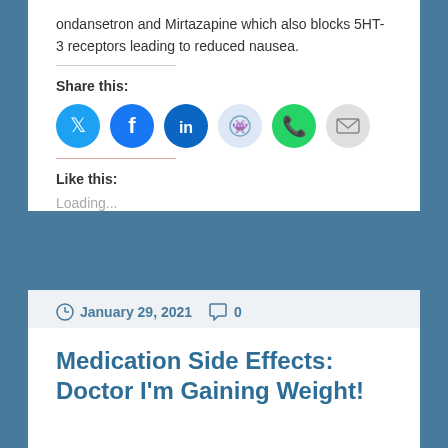ondansetron and Mirtazapine which also blocks 5HT-3 receptors leading to reduced nausea.
Share this:
[Figure (other): Social sharing icons: Twitter, Facebook, LinkedIn, Reddit, WhatsApp, Email]
Like this:
Loading...
January 29, 2021   0
Medication Side Effects: Doctor I'm Gaining Weight!